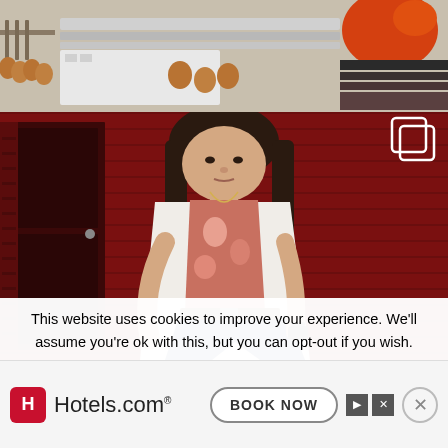[Figure (photo): Top strip photo showing kitchen appliance or cookware on a stovetop, with copper/brown toned items, some rack with hanging items on the left, and an orange pot visible top right]
[Figure (photo): Portrait photo of a woman with long dark hair wearing a white blazer over a floral pink/red top and dark jeans with a brown belt, standing in front of a dark red/maroon house siding with a door visible on the left. A copy/layers icon is in the top right corner of the image.]
This website uses cookies to improve your experience. We'll assume you're ok with this, but you can opt-out if you wish.
[Figure (other): Hotels.com advertisement banner with red H icon logo, Hotels.com text, navigation arrows, BOOK NOW button, and close X button]